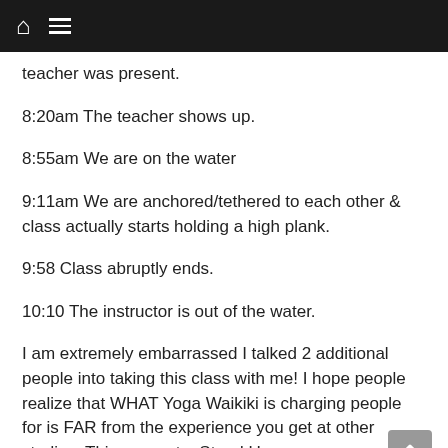[Home icon] [Menu icon]
teacher was present.
8:20am The teacher shows up.
8:55am We are on the water
9:11am We are anchored/tethered to each other & class actually starts holding a high plank.
9:58 Class abruptly ends.
10:10 The instructor is out of the water.
I am extremely embarrassed I talked 2 additional people into taking this class with me! I hope people realize that WHAT Yoga Waikiki is charging people for is FAR from the experience you get at other studios. This was not a Stand Up